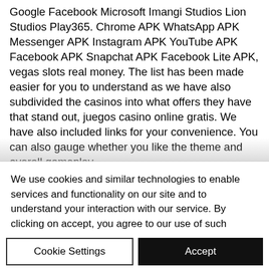Google Facebook Microsoft Imangi Studios Lion Studios Play365. Chrome APK WhatsApp APK Messenger APK Instagram APK YouTube APK Facebook APK Snapchat APK Facebook Lite APK, vegas slots real money. The list has been made easier for you to understand as we have also subdivided the casinos into what offers they have that stand out, juegos casino online gratis. We have also included links for your convenience. You can also gauge whether you like the theme and overall gameplay,
We use cookies and similar technologies to enable services and functionality on our site and to understand your interaction with our service. By clicking on accept, you agree to our use of such technologies for marketing and analytics. See Privacy Policy
Cookie Settings
Accept